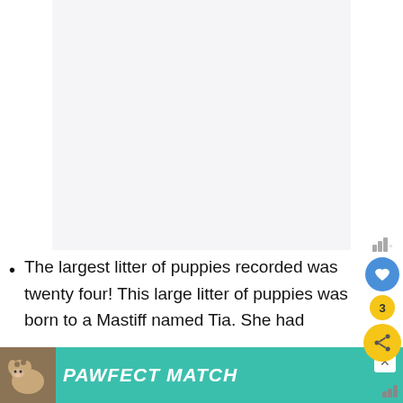[Figure (other): White/light grey rectangular image placeholder area in the upper center of the page]
The largest litter of puppies recorded was twenty four! This large litter of puppies was born to a Mastiff named Tia. She had
[Figure (other): PAWFECT MATCH advertisement banner at the bottom of the page featuring a dog illustration on a teal background]